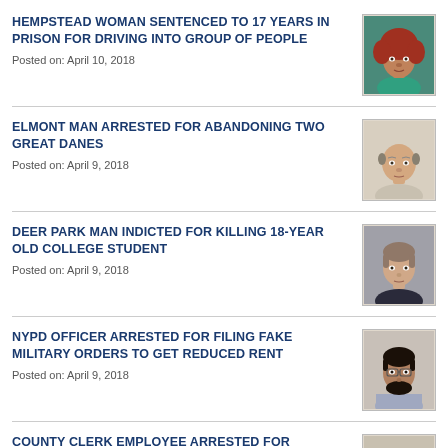HEMPSTEAD WOMAN SENTENCED TO 17 YEARS IN PRISON FOR DRIVING INTO GROUP OF PEOPLE
Posted on: April 10, 2018
[Figure (photo): Mugshot of a woman with curly reddish-orange hair wearing a teal top]
ELMONT MAN ARRESTED FOR ABANDONING TWO GREAT DANES
Posted on: April 9, 2018
[Figure (photo): Mugshot of a bald middle-aged man with a light complexion]
DEER PARK MAN INDICTED FOR KILLING 18-YEAR OLD COLLEGE STUDENT
Posted on: April 9, 2018
[Figure (photo): Mugshot of a man with gray/brown hair wearing a dark shirt]
NYPD OFFICER ARRESTED FOR FILING FAKE MILITARY ORDERS TO GET REDUCED RENT
Posted on: April 9, 2018
[Figure (photo): Mugshot of a man with dark hair and beard wearing a striped shirt]
COUNTY CLERK EMPLOYEE ARRESTED FOR ELECTIONEERING IN POLLING PLACE
Posted on: March 27, 2018
[Figure (photo): Mugshot of a man with dark hair and medium complexion]